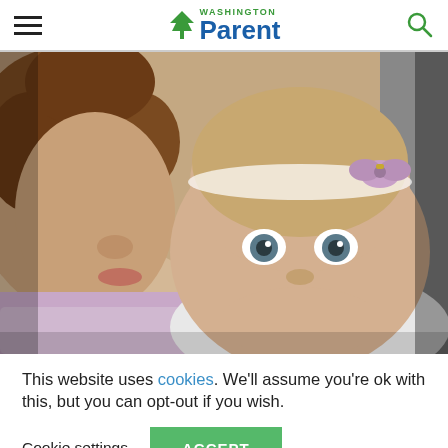Washington Parent
[Figure (photo): A young girl with curly hair hugging a baby wearing a purple bow headband and a pacifier, both looking at the camera.]
This website uses cookies. We'll assume you're ok with this, but you can opt-out if you wish.
Cookie settings   ACCEPT